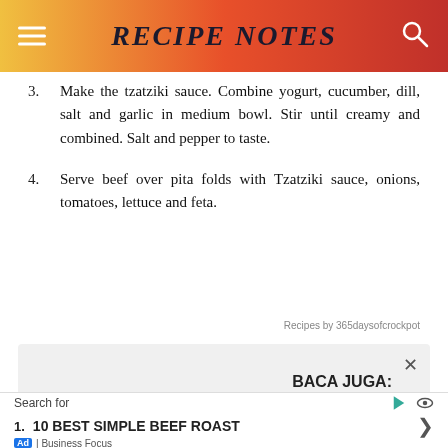RECIPE NOTES
3. Make the tzatziki sauce. Combine yogurt, cucumber, dill, salt and garlic in medium bowl. Stir until creamy and combined. Salt and pepper to taste.
4. Serve beef over pita folds with Tzatziki sauce, onions, tomatoes, lettuce and feta.
Recipes by 365daysofcrockpot
BACA JUGA:
Search for
1.  10 BEST SIMPLE BEEF ROAST
Ad | Business Focus